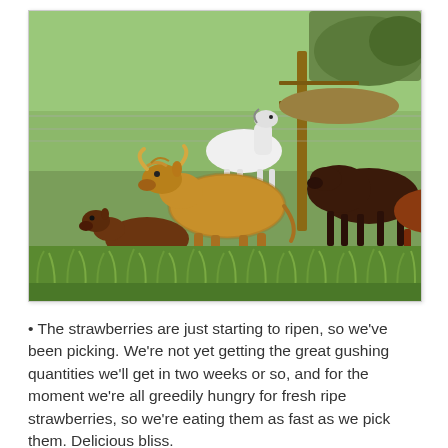[Figure (photo): Outdoor farm scene with several cattle including a fluffy tan highland cow and a small brown calf in the foreground, dark brown cattle to the right, and a white horse visible behind a wire fence in the background. The setting is a lush green pasture with tall grass.]
The strawberries are just starting to ripen, so we've been picking. We're not yet getting the great gushing quantities we'll get in two weeks or so, and for the moment we're all greedily hungry for fresh ripe strawberries, so we're eating them as fast as we pick them. Delicious bliss.